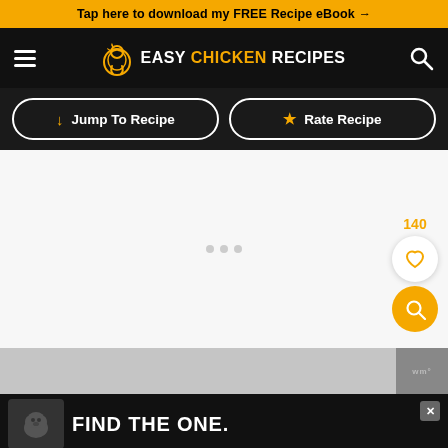Tap here to download my FREE Recipe eBook →
[Figure (logo): Easy Chicken Recipes logo with chicken icon and navigation hamburger menu and search icon]
[Figure (infographic): Jump To Recipe button and Rate Recipe button on dark background]
[Figure (photo): White/light gray content loading area with three dots indicator, heart button showing 140, and orange search button on right side]
[Figure (photo): Partial food photo strip at bottom with 'wm' watermark area]
[Figure (screenshot): Advertisement bar: dog photo with FIND THE ONE text and close button]